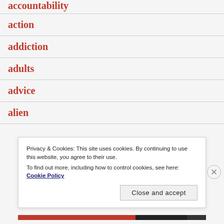accountability
action
addiction
adults
advice
alien
Privacy & Cookies: This site uses cookies. By continuing to use this website, you agree to their use.
To find out more, including how to control cookies, see here:
Cookie Policy
Close and accept